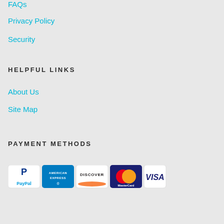FAQs
Privacy Policy
Security
HELPFUL LINKS
About Us
Site Map
PAYMENT METHODS
[Figure (logo): Payment method logos: PayPal, American Express, Discover, MasterCard, Visa]